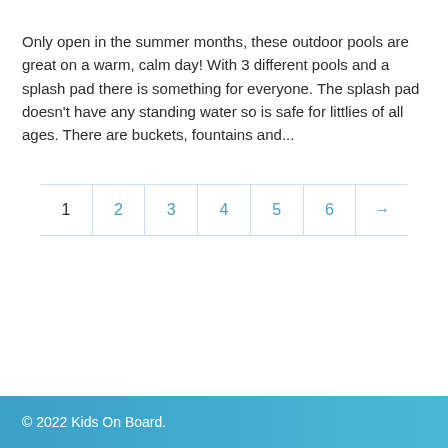Only open in the summer months, these outdoor pools are great on a warm, calm day! With 3 different pools and a splash pad there is something for everyone. The splash pad doesn't have any standing water so is safe for littlies of all ages. There are buckets, fountains and...
1 | 2 | 3 | 4 | 5 | 6 | →
© 2022 Kids On Board.